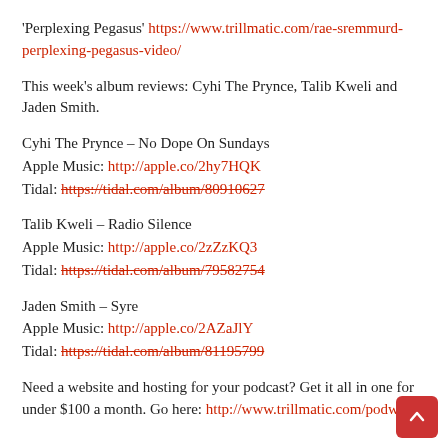'Perplexing Pegasus' https://www.trillmatic.com/rae-sremmurd-perplexing-pegasus-video/
This week's album reviews: Cyhi The Prynce, Talib Kweli and Jaden Smith.
Cyhi The Prynce – No Dope On Sundays
Apple Music: http://apple.co/2hy7HQK
Tidal: https://tidal.com/album/80910627
Talib Kweli – Radio Silence
Apple Music: http://apple.co/2zZzKQ3
Tidal: https://tidal.com/album/79582754
Jaden Smith – Syre
Apple Music: http://apple.co/2AZaJlY
Tidal: https://tidal.com/album/81195799
Need a website and hosting for your podcast? Get it all in one for under $100 a month. Go here: http://www.trillmatic.com/podweb